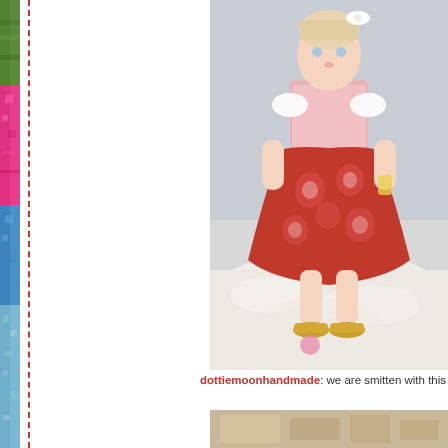[Figure (photo): Left side strip showing colorful fabric swatches and patterned textiles in pink, blue, green, and floral designs]
[Figure (photo): Main photo of a young toddler girl wearing a red floral dress with white lace cap sleeves, standing on a fluffy white rug, wearing gold shoes]
dottiemoonhandmade: we are smitten with this dress in
[Figure (photo): Partial bottom image showing what appears to be a fabric or pattern swatch]